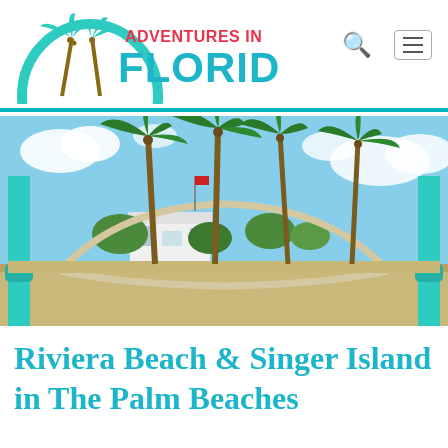[Figure (logo): Adventures in Florida logo with palm tree graphic, teal arch, and colorful text]
[Figure (photo): Beach scene with turquoise metal arch/gate structure, palm trees swaying in wind, white building in background, blue sky with clouds]
Riviera Beach & Singer Island in The Palm Beaches